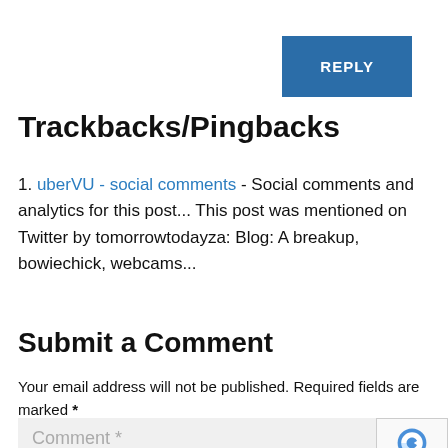REPLY
Trackbacks/Pingbacks
1. uberVU - social comments - Social comments and analytics for this post... This post was mentioned on Twitter by tomorrowtodayza: Blog: A breakup, bowiechick, webcams...
Submit a Comment
Your email address will not be published. Required fields are marked *
Comment *